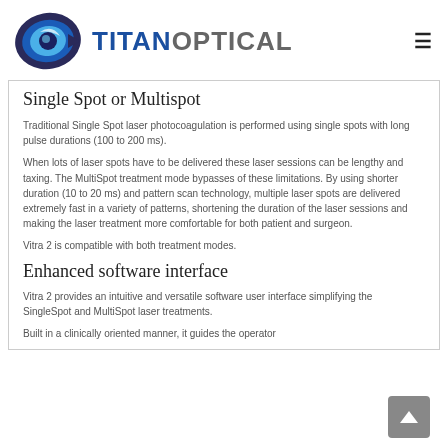[Figure (logo): Titan Optical logo with stylized eye graphic in blue and dark colors, and the text TITANOPTICAL]
Single Spot or Multispot
Traditional Single Spot laser photocoagulation is performed using single spots with long pulse durations (100 to 200 ms).
When lots of laser spots have to be delivered these laser sessions can be lengthy and taxing. The MultiSpot treatment mode bypasses of these limitations. By using shorter duration (10 to 20 ms) and pattern scan technology, multiple laser spots are delivered extremely fast in a variety of patterns, shortening the duration of the laser sessions and making the laser treatment more comfortable for both patient and surgeon.
Vitra 2 is compatible with both treatment modes.
Enhanced software interface
Vitra 2 provides an intuitive and versatile software user interface simplifying the SingleSpot and MultiSpot laser treatments.
Built in a clinically oriented manner, it guides the operator